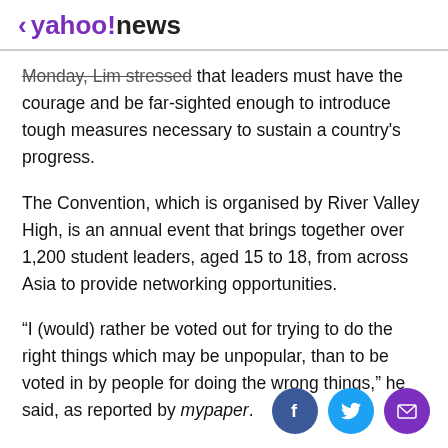< yahoo!news
Monday, Lim stressed that leaders must have the courage and be far-sighted enough to introduce tough measures necessary to sustain a country's progress.
The Convention, which is organised by River Valley High, is an annual event that brings together over 1,200 student leaders, aged 15 to 18, from across Asia to provide networking opportunities.
“I (would) rather be voted out for trying to do the right things which may be unpopular, than to be voted in by people for doing the wrong things,” he said, as reported by mypaper.